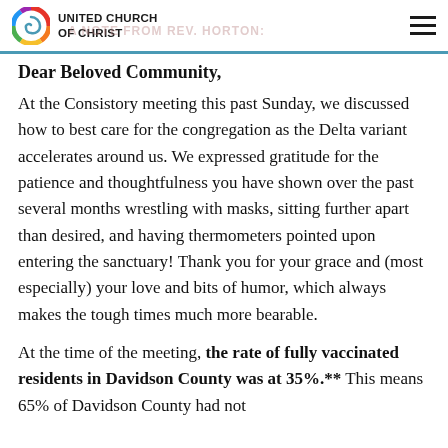UNITED CHURCH OF CHRIST
A NOTE FROM REV. HORTON:
Dear Beloved Community,
At the Consistory meeting this past Sunday, we discussed how to best care for the congregation as the Delta variant accelerates around us. We expressed gratitude for the patience and thoughtfulness you have shown over the past several months wrestling with masks, sitting further apart than desired, and having thermometers pointed upon entering the sanctuary! Thank you for your grace and (most especially) your love and bits of humor, which always makes the tough times much more bearable.
At the time of the meeting, the rate of fully vaccinated residents in Davidson County was at 35%.** This means 65% of Davidson County had not